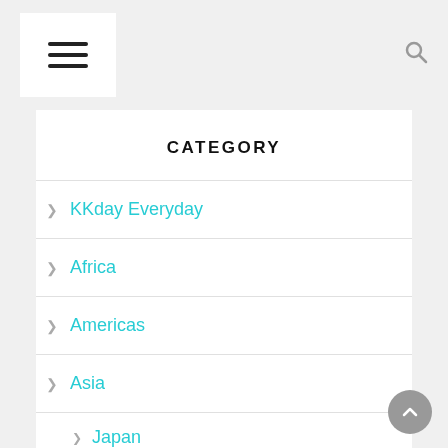Navigation header with hamburger menu and search icon
CATEGORY
KKday Everyday
Africa
Americas
Asia
Japan
Korea